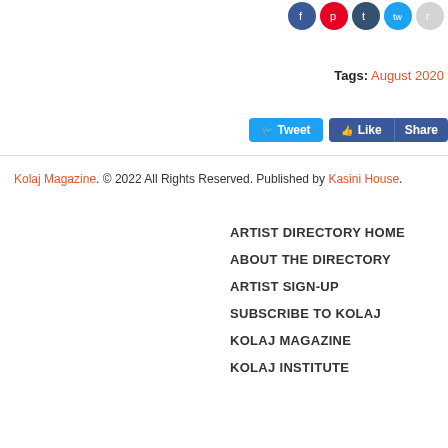[Figure (other): Social media share icons: Facebook (blue circle), Pinterest (red circle), Tumblr (dark blue circle), Twitter (light blue circle), Reddit (gray circle)]
Tags: August 2020
[Figure (other): Social sharing buttons: Tweet (Twitter blue), Like (Facebook blue), Share (Facebook blue)]
Kolaj Magazine. © 2022 All Rights Reserved. Published by Kasini House.
ARTIST DIRECTORY HOME
ABOUT THE DIRECTORY
ARTIST SIGN-UP
SUBSCRIBE TO KOLAJ
KOLAJ MAGAZINE
KOLAJ INSTITUTE